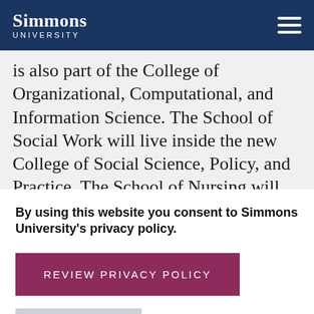Simmons UNIVERSITY
is also part of the College of Organizational, Computational, and Information Science. The School of Social Work will live inside the new College of Social Science, Policy, and Practice. The School of Nursing will live inside the new
By using this website you consent to Simmons University's privacy policy.
REVIEW PRIVACY POLICY
DISMISS